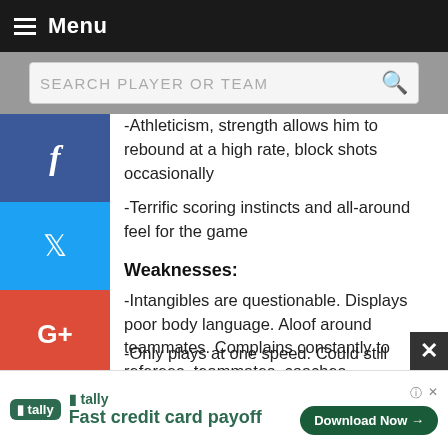Menu
SEARCH PLAYER OR TEAM
-Athleticism, strength allows him to rebound at a high rate, block shots occasionally
-Terrific scoring instincts and all-around feel for the game
Weaknesses:
-Intangibles are questionable. Displays poor body language. Aloof around teammates. Complains constantly to referees, teammates, coaches
-Doesn't give great effort on defense
-Offensive game very isolation-heavy. Can be a ball-stopper. Overdribbles. Takes bad shots. Freezes out teammates.
-Only plays at one speed. Could still improve on
tally Fast credit card payoff Download Now